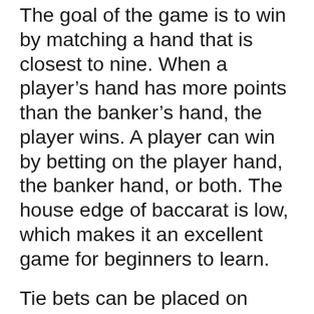The goal of the game is to win by matching a hand that is closest to nine. When a player's hand has more points than the banker's hand, the player wins. A player can win by betting on the player hand, the banker hand, or both. The house edge of baccarat is low, which makes it an excellent game for beginners to learn.
Tie bets can be placed on either hand. Banker and player hands will likely have the same value. Typically, a tie bet will pay an odds of 8 to one. However, some casinos offer a